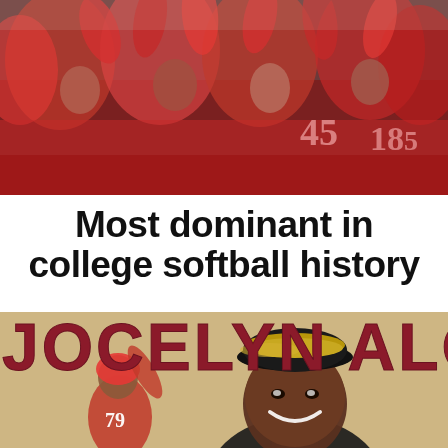[Figure (photo): Group of softball players in red uniforms celebrating together, raising their hands, jersey numbers 45 and 185 visible]
Most dominant in college softball history
[Figure (infographic): Graphic with tan/cream background showing the name JOCELYN ALO in large dark red bold letters, with a softball player in red uniform numbered 79 in the background and a smiling woman in a black cap with a tan visor on top in the foreground]